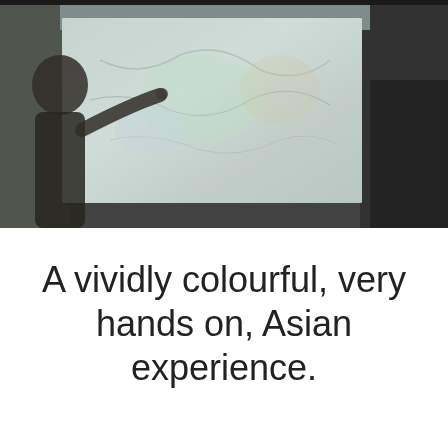[Figure (photo): A blurry photo of a person (silhouette visible on the left) pointing at or interacting with a large illuminated map or artwork on a wall. The background shows light blue and muted tones with the map/display being the central element.]
A vividly colourful, very hands on, Asian experience.